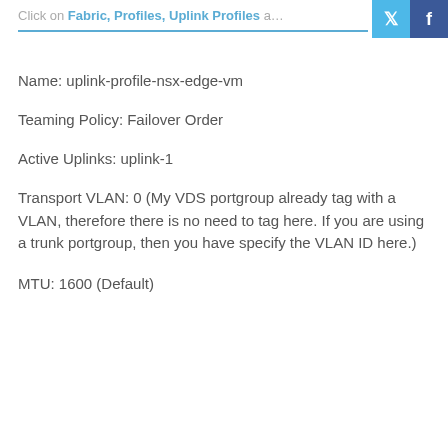Click on Fabric, Profiles, Uplink Profiles…
Name: uplink-profile-nsx-edge-vm
Teaming Policy: Failover Order
Active Uplinks: uplink-1
Transport VLAN: 0 (My VDS portgroup already tag with a VLAN, therefore there is no need to tag here. If you are using a trunk portgroup, then you have specify the VLAN ID here.)
MTU: 1600 (Default)